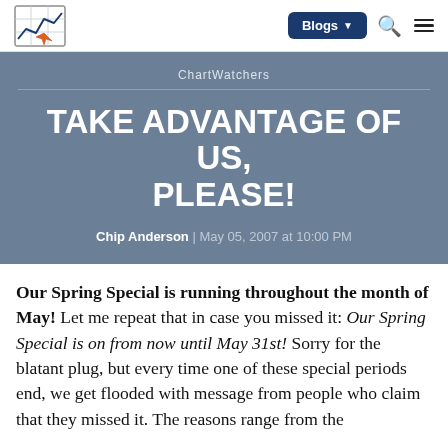ChartWatchers | Blogs | navigation
ChartWatchers
TAKE ADVANTAGE OF US, PLEASE!
Chip Anderson | May 05, 2007 at 10:00 PM
Our Spring Special is running throughout the month of May! Let me repeat that in case you missed it: Our Spring Special is on from now until May 31st! Sorry for the blatant plug, but every time one of these special periods end, we get flooded with message from people who claim that they missed it. The reasons range from the